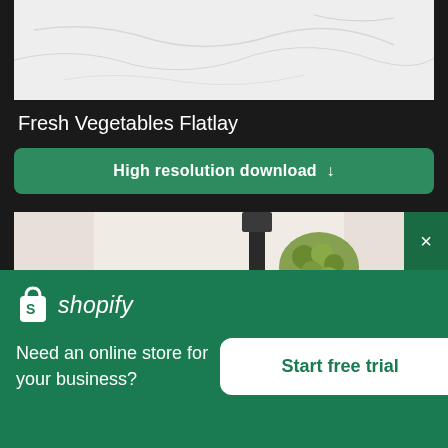[Figure (photo): Marble surface texture - partial view of a marble countertop or surface with grey veining on white background]
Fresh Vegetables Flatlay
High resolution download ↓
[Figure (photo): Kitchen scene with person's hand cutting vegetables near a black faucet, with grapes and red apple visible in background]
×
[Figure (logo): Shopify logo - shopping bag icon with S and the word shopify in italic]
Need an online store for your business?
Start free trial